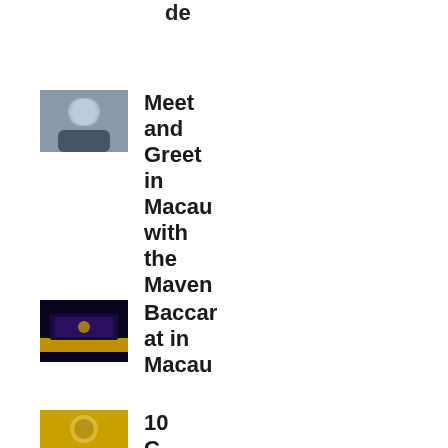de
[Figure (photo): Portrait photo of a person in a suit]
Meet and Greet in Macau with the Maven
[Figure (photo): Casino or waterfront building at night with lights reflected on water]
Baccarat in Macau
[Figure (photo): Bowl of food, appears to be a yellow grain or lentil dish]
10 C...